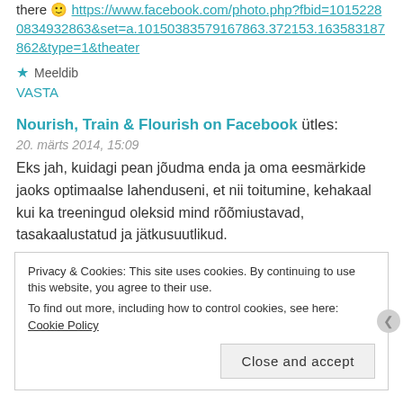there 🙂 https://www.facebook.com/photo.php?fbid=10152280834932863&set=a.10150383579167863.372153.163583187862&type=1&theater
★ Meeldib
VASTA
Nourish, Train & Flourish on Facebook ütles:
20. märts 2014, 15:09
Eks jah, kuidagi pean jõudma enda ja oma eesmärkide jaoks optimaalse lahenduseni, et nii toitumine, kehakaal kui ka treeningud oleksid mind rõõmiustavad, tasakaalustatud ja jätkusuutlikud.
Privacy & Cookies: This site uses cookies. By continuing to use this website, you agree to their use. To find out more, including how to control cookies, see here: Cookie Policy. Close and accept